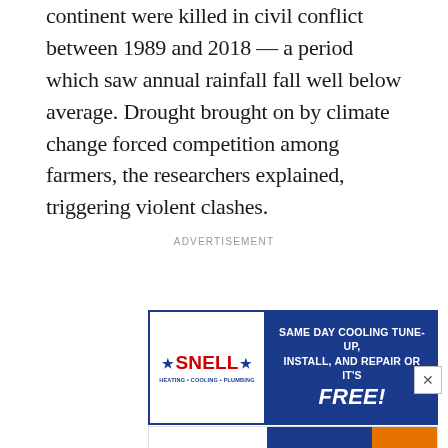continent were killed in civil conflict between 1989 and 2018 — a period which saw annual rainfall fall well below average. Drought brought on by climate change forced competition among farmers, the researchers explained, triggering violent clashes.
ADVERTISEMENT
[Figure (other): Snell Heating Cooling Plumbing advertisement: Same Day Cooling Tune-Up, Install, and Repair or It's FREE!]
[Figure (other): Nu Look Home Design advertisement: We Make Roofing Easy — Learn More]